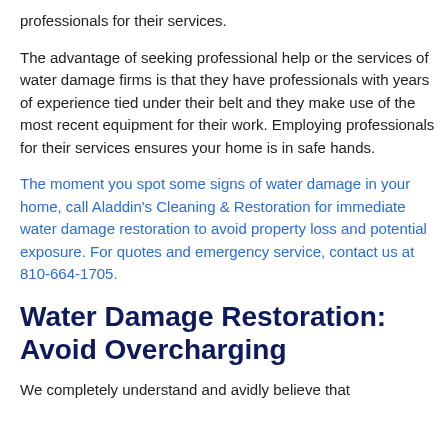professionals for their services.
The advantage of seeking professional help or the services of water damage firms is that they have professionals with years of experience tied under their belt and they make use of the most recent equipment for their work. Employing professionals for their services ensures your home is in safe hands.
The moment you spot some signs of water damage in your home, call Aladdin's Cleaning & Restoration for immediate water damage restoration to avoid property loss and potential exposure. For quotes and emergency service, contact us at 810-664-1705.
Water Damage Restoration: Avoid Overcharging
We completely understand and avidly believe that